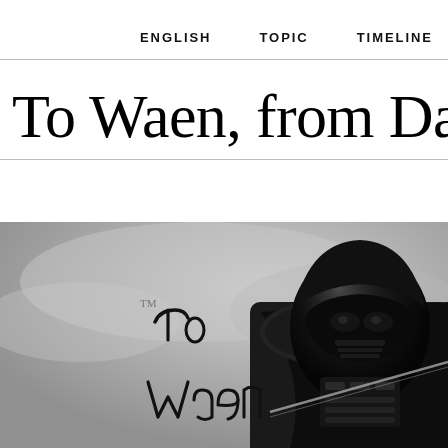ENGLISH   TOPIC   TIMELINE
To Waen, from Da
[Figure (photo): Black and white photograph of Darth Vader (Star Wars character in full costume with helmet) with a handwritten dedication in marker reading 'To Waen' visible on the left side of the photo. The autograph appears to be a signed fan photo.]